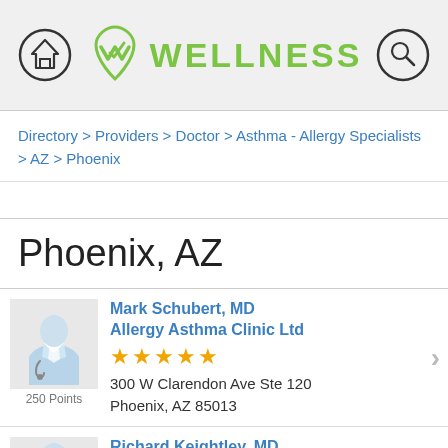[Figure (logo): Wellness directory website header with home icon, green W Wellness logo, and search icon on gray background]
Directory > Providers > Doctor > Asthma - Allergy Specialists > AZ > Phoenix
Phoenix, AZ
Mark Schubert, MD
Allergy Asthma Clinic Ltd
★★★★★
300 W Clarendon Ave Ste 120
Phoenix, AZ 85013
250 Points
Richard Keightley, MD
Paradise Valley Allergy
★★★★